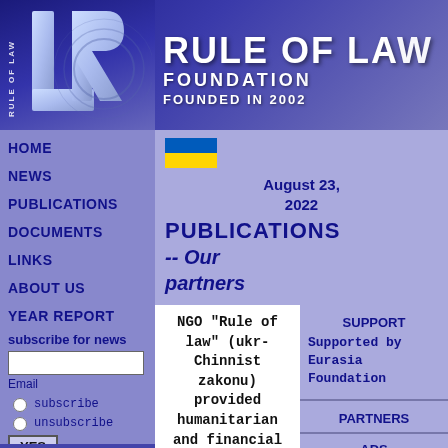RULE OF LAW FOUNDATION — FOUNDED IN 2002
[Figure (logo): Rule of Law Foundation logo with stylized LR letters on blue background with vertical text RULE OF LAW]
[Figure (illustration): Ukraine flag (blue and yellow horizontal stripes)]
August 23, 2022
PUBLICATIONS
-- Our partners
HOME
NEWS
PUBLICATIONS
DOCUMENTS
LINKS
ABOUT US
YEAR REPORT
subscribe for news
Email
subscribe
unsubscribe
YES
NGO "Rule of law" (ukr-Chinnist zakonu) provided humanitarian and financial assistance to the front on the New Year's
SUPPORT
Supported by Eurasia Foundation
PARTNERS
ADS